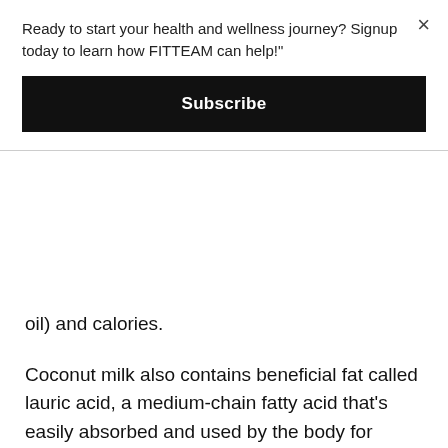Ready to start your health and wellness journey? Signup today to learn how FITTEAM can help!"
Subscribe
oil) and calories.
Coconut milk also contains beneficial fat called lauric acid, a medium-chain fatty acid that’s easily absorbed and used by the body for energy, lowers cholesterol levels, and improves blood pressure.
Full-fat coconut milk is higher in calories (grams of fat naturally have 9 calories compared to protein and carbs with have 4 cals/g), it’s better to be